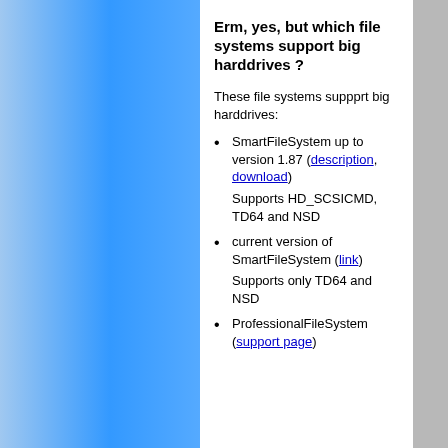Erm, yes, but which file systems support big harddrives ?
These file systems suppprt big harddrives:
SmartFileSystem up to version 1.87 (description, download)
Supports HD_SCSICMD, TD64 and NSD
current version of SmartFileSystem (link)
Supports only TD64 and NSD
ProfessionalFileSystem (support page)